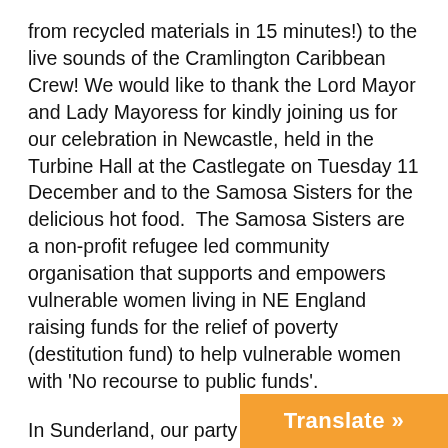from recycled materials in 15 minutes!) to the live sounds of the Cramlington Caribbean Crew! We would like to thank the Lord Mayor and Lady Mayoress for kindly joining us for our celebration in Newcastle, held in the Turbine Hall at the Castlegate on Tuesday 11 December and to the Samosa Sisters for the delicious hot food.  The Samosa Sisters are a non-profit refugee led community organisation that supports and empowers vulnerable women living in NE England raising funds for the relief of poverty (destitution fund) to help vulnerable women with 'No recourse to public funds'.
In Sunderland, our party go Wednesday 12 December w